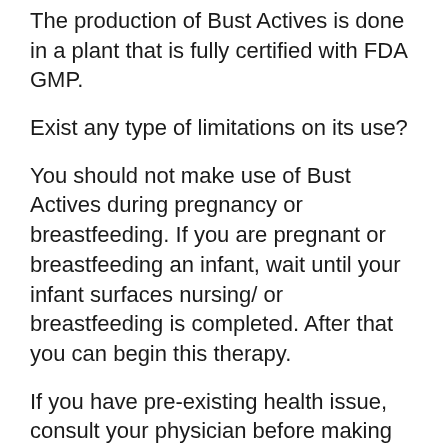The production of Bust Actives is done in a plant that is fully certified with FDA GMP.
Exist any type of limitations on its use?
You should not make use of Bust Actives during pregnancy or breastfeeding. If you are pregnant or breastfeeding an infant, wait until your infant surfaces nursing/ or breastfeeding is completed. After that you can begin this therapy.
If you have pre-existing health issue, consult your physician before making use of natural supplements.
Dosage